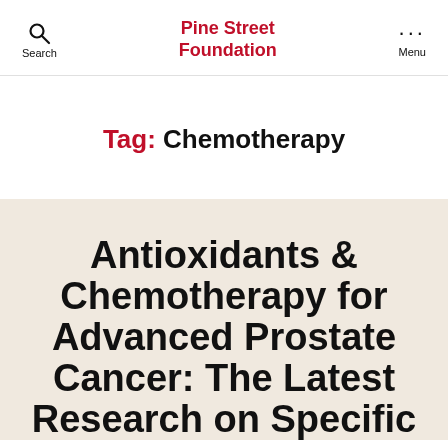Search | Pine Street Foundation | Menu
Tag: Chemotherapy
Antioxidants & Chemotherapy for Advanced Prostate Cancer: The Latest Research on Specific